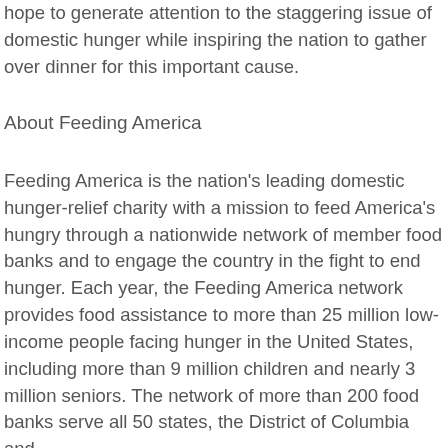hope to generate attention to the staggering issue of domestic hunger while inspiring the nation to gather over dinner for this important cause.
About Feeding America
Feeding America is the nation's leading domestic hunger-relief charity with a mission to feed America's hungry through a nationwide network of member food banks and to engage the country in the fight to end hunger. Each year, the Feeding America network provides food assistance to more than 25 million low-income people facing hunger in the United States, including more than 9 million children and nearly 3 million seniors. The network of more than 200 food banks serve all 50 states, the District of Columbia and